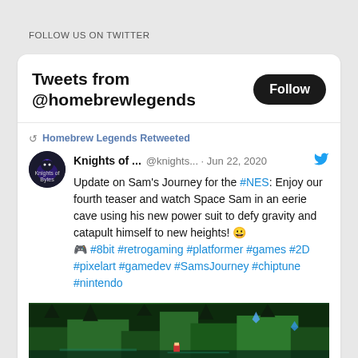FOLLOW US ON TWITTER
Tweets from @homebrewlegends
Homebrew Legends Retweeted
Knights of ...  @knights... · Jun 22, 2020  Update on Sam's Journey for the #NES: Enjoy our fourth teaser and watch Space Sam in an eerie cave using his new power suit to defy gravity and catapult himself to new heights! 😀 🎮 #8bit #retrogaming #platformer #games #2D #pixelart #gamedev #SamsJourney #chiptune #nintendo
[Figure (screenshot): Game screenshot showing a 2D platformer with green cave environment, pixel art style]